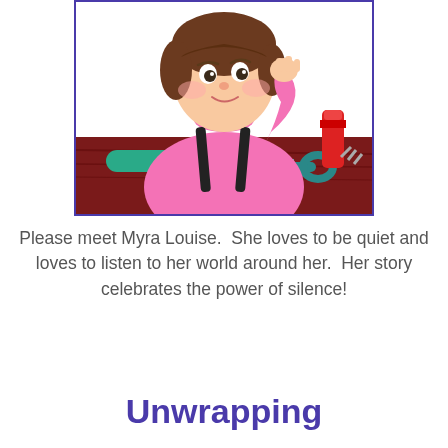[Figure (illustration): Illustration of a young girl with brown hair in a pink turtleneck sweater and black overalls, leaning on a dark red workbench with tools including a green screwdriver, a wrench, a wooden peg, and a red glue stick. Her hand is raised to her forehead.]
Please meet Myra Louise.  She loves to be quiet and loves to listen to her world around her.  Her story celebrates the power of silence!
Unwrapping